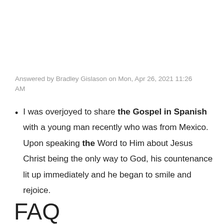Answered by Bradley Gislason on Mon, Apr 26, 2021 11:26 AM
I was overjoyed to share the Gospel in Spanish with a young man recently who was from Mexico. Upon speaking the Word to Him about Jesus Christ being the only way to God, his countenance lit up immediately and he began to smile and rejoice.
FAQ